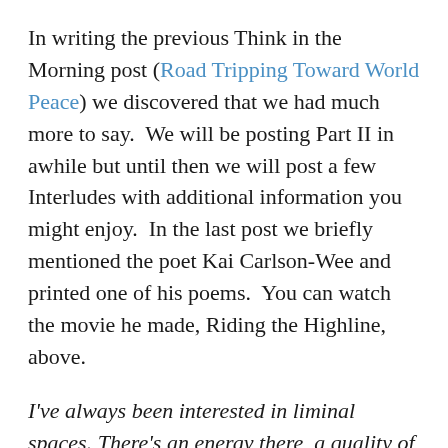In writing the previous Think in the Morning post (Road Tripping Toward World Peace) we discovered that we had much more to say.  We will be posting Part II in awhile but until then we will post a few Interludes with additional information you might enjoy.  In the last post we briefly mentioned the poet Kai Carlson-Wee and printed one of his poems.  You can watch the movie he made, Riding the Highline, above.
I've always been interested in liminal spaces. There's an energy there, a quality of anticipation mixed with grief. When you're writing about a fixed place, either in terms of a physical place or a place in time, you